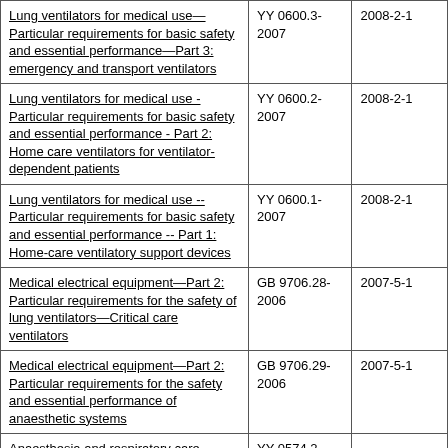| Lung ventilators for medical use—Particular requirements for basic safety and essential performance—Part 3: emergency and transport ventilators | YY 0600.3-2007 | 2008-2-1 |
| Lung ventilators for medical use - Particular requirements for basic safety and essential performance - Part 2: Home care ventilators for ventilator-dependent patients | YY 0600.2-2007 | 2008-2-1 |
| Lung ventilators for medical use -- Particular requirements for basic safety and essential performance -- Part 1: Home-care ventilatory support devices | YY 0600.1-2007 | 2008-2-1 |
| Medical electrical equipment—Part 2: Particular requirements for the safety of lung ventilators—Critical care ventilators | GB 9706.28-2006 | 2007-5-1 |
| Medical electrical equipment—Part 2: Particular requirements for the safety and essential performance of anaesthetic systems | GB 9706.29-2006 | 2007-5-1 |
| Anaesthesia and respiratory care | YY 0574.2- |  |